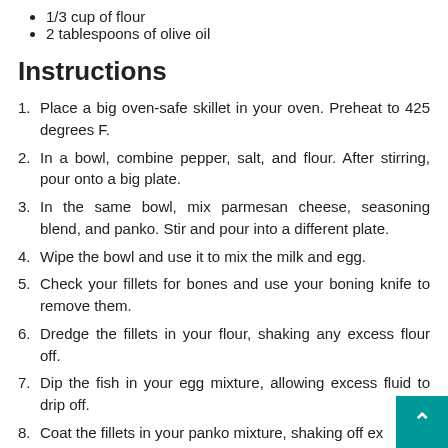1/3 cup of flour
2 tablespoons of olive oil
Instructions
1. Place a big oven-safe skillet in your oven. Preheat to 425 degrees F.
2. In a bowl, combine pepper, salt, and flour. After stirring, pour onto a big plate.
3. In the same bowl, mix parmesan cheese, seasoning blend, and panko. Stir and pour into a different plate.
4. Wipe the bowl and use it to mix the milk and egg.
5. Check your fillets for bones and use your boning knife to remove them.
6. Dredge the fillets in your flour, shaking any excess flour off.
7. Dip the fish in your egg mixture, allowing excess fluid to drip off.
8. Coat the fillets in your panko mixture, shaking off ex…